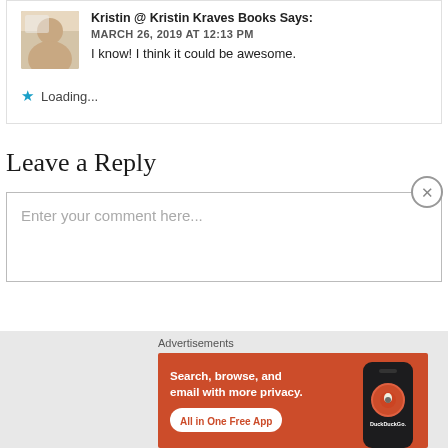Kristin @ Kristin Kraves Books Says:
MARCH 26, 2019 AT 12:13 PM
I know! I think it could be awesome.
Loading...
Leave a Reply
Enter your comment here...
Advertisements
[Figure (other): DuckDuckGo advertisement banner: orange background with text 'Search, browse, and email with more privacy. All in One Free App' and a phone graphic showing DuckDuckGo logo]